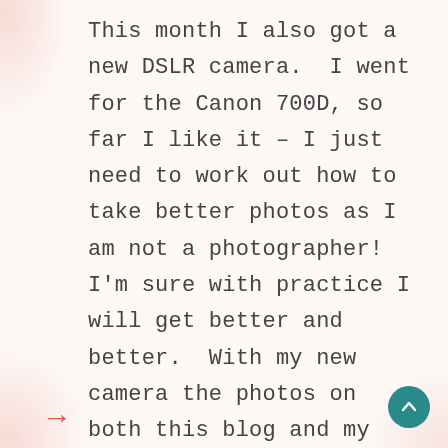This month I also got a new DSLR camera.  I went for the Canon 700D, so far I like it – I just need to work out how to take better photos as I am not a photographer!  I'm sure with practice I will get better and better.  With my new camera the photos on both this blog and my other projects will improve.  It has a good video function for when I am making videos too!